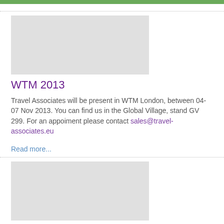[Figure (other): Green header bar]
[Figure (photo): Gray image placeholder for WTM 2013 article]
WTM 2013
Travel Associates will be present in WTM London, between 04-07 Nov 2013. You can find us in the Global Village, stand GV 299. For an appoiment please contact sales@travel-associates.eu
Read more...
[Figure (photo): Gray image placeholder for About Us article]
About Us
Travel Associates was founded in 2009 in Bucharest, Romania as part of a large group of companies in tourism which was first built in 1998. The group has 4